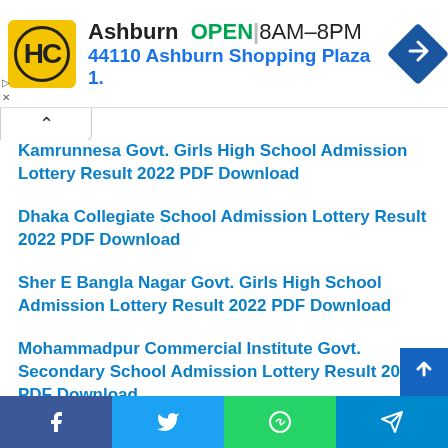[Figure (infographic): Advertisement banner for a business in Ashburn with logo, OPEN status, hours 8AM-8PM, address 44110 Ashburn Shopping Plaza 1., and a navigation arrow icon]
Kamrunnesa Govt. Girls High School Admission Lottery Result 2022 PDF Download
Dhaka Collegiate School Admission Lottery Result 2022 PDF Download
Sher E Bangla Nagar Govt. Girls High School Admission Lottery Result 2022 PDF Download
Mohammadpur Commercial Institute Govt. Secondary School Admission Lottery Result 2022 PDF Download
[Figure (infographic): Social sharing footer bar with Facebook, Twitter, WhatsApp, and Telegram icons]